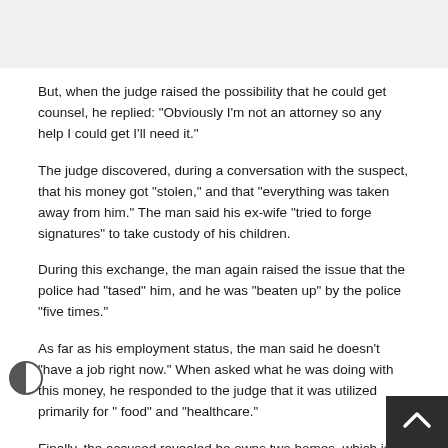[Figure (other): Top image placeholder area (grey box)]
But, when the judge raised the possibility that he could get counsel, he replied: "Obviously I'm not an attorney so any help I could get I'll need it."
The judge discovered, during a conversation with the suspect, that his money got "stolen," and that "everything was taken away from him." The man said his ex-wife "tried to forge signatures" to take custody of his children.
During this exchange, the man again raised the issue that the police had "tased" him, and he was "beaten up" by the police "five times."
As far as his employment status, the man said he doesn't "have a job right now." When asked what he was doing with this money, he responded to the judge that it was utilized primarily for " food" and "healthcare."
Finally, the accused revealed he owns two homes, which is lik…